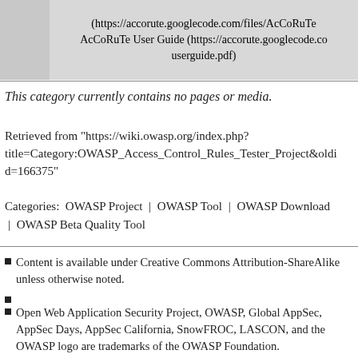|  | (https://accorute.googlecode.com/files/AcCoRuTe User Guide (https://accorute.googlecode.co userguide.pdf) |
This category currently contains no pages or media.
Retrieved from "https://wiki.owasp.org/index.php?title=Category:OWASP_Access_Control_Rules_Tester_Project&oldid=166375"
Categories:  OWASP Project | OWASP Tool | OWASP Download | OWASP Beta Quality Tool
Content is available under Creative Commons Attribution-ShareAlike unless otherwise noted.
Open Web Application Security Project, OWASP, Global AppSec, AppSec Days, AppSec California, SnowFROC, LASCON, and the OWASP logo are trademarks of the OWASP Foundation.